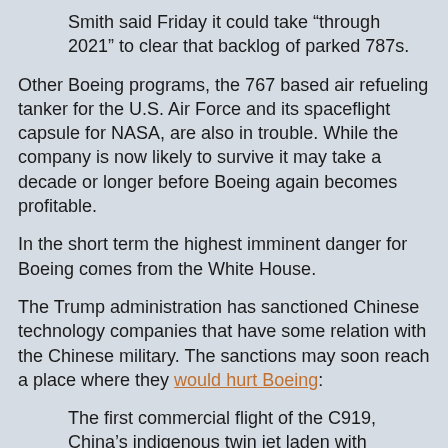Smith said Friday it could take “through 2021” to clear that backlog of parked 787s.
Other Boeing programs, the 767 based air refueling tanker for the U.S. Air Force and its spaceflight capsule for NASA, are also in trouble. While the company is now likely to survive it may take a decade or longer before Boeing again becomes profitable.
In the short term the highest imminent danger for Boeing comes from the White House.
The Trump administration has sanctioned Chinese technology companies that have some relation with the Chinese military. The sanctions may soon reach a place where they would hurt Boeing:
The first commercial flight of the C919, China’s indigenous twin jet laden with political significance, may be delayed indefinitely due to the US-China tech war.
Beijing has sought to break the Boeing-Airbus duopoly on passenger jets by filling its domestic skies with homegrown airliners made by the state-owned Commercial Aircraft Corporation of